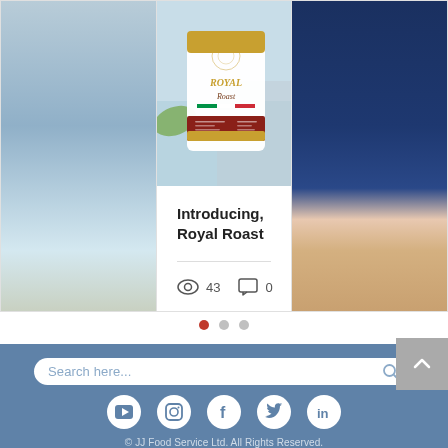[Figure (photo): Screenshot of a website showing a product blog card for 'Introducing, Royal Roast' coffee product. The main card shows a coffee bag (Royal Roast) image at top, title text, view count of 43, comment count of 0, and a heart/like icon. Partial cards visible on left and right. Carousel pagination dots below. Footer with search bar, social media icons (YouTube, Instagram, Facebook, Twitter, LinkedIn), and copyright text for JJ Food Service Ltd.]
Introducing, Royal Roast
43
0
Search here...
© JJ Food Service Ltd. All Rights Reserved.